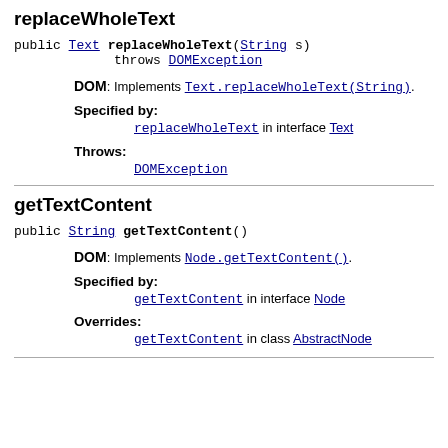replaceWholeText
public Text replaceWholeText(String s)
        throws DOMException
DOM: Implements Text.replaceWholeText(String).
Specified by:
replaceWholeText in interface Text
Throws:
DOMException
getTextContent
public String getTextContent()
DOM: Implements Node.getTextContent().
Specified by:
getTextContent in interface Node
Overrides:
getTextContent in class AbstractNode